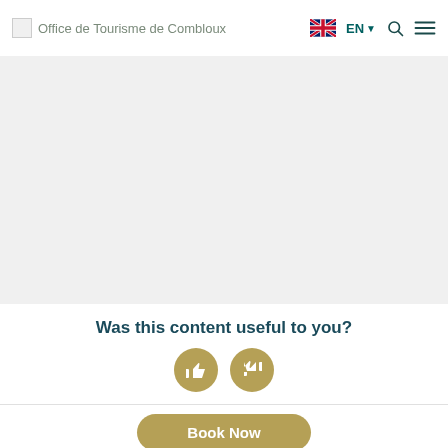Office de Tourisme de Combloux
[Figure (other): Gray placeholder content area]
Was this content useful to you?
[Figure (infographic): Thumbs up and thumbs down feedback buttons (gold circles with white icons)]
Book Now